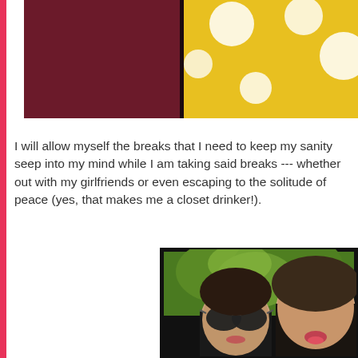[Figure (photo): Partial top photo showing yellow polka dot fabric/object against dark maroon background, cropped at top edge]
I will allow myself the breaks that I need to keep my sanity seep into my mind while I am taking said breaks --- whether out with my girlfriends or even escaping to the solitude of peace (yes, that makes me a closet drinker!).
[Figure (photo): Selfie photo of two women/girls outdoors with green trees in background; one wearing large dark sunglasses, both making funny faces with pouty lips]